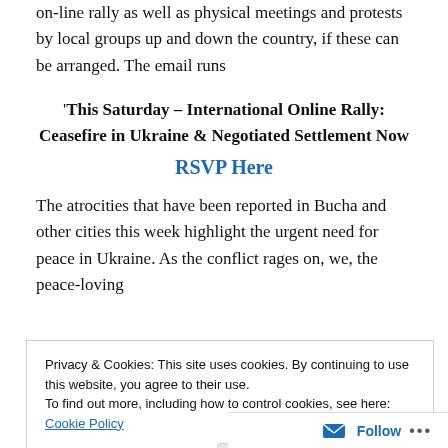on-line rally as well as physical meetings and protests by local groups up and down the country, if these can be arranged. The email runs
‘This Saturday – International Online Rally: Ceasefire in Ukraine & Negotiated Settlement Now
RSVP Here
The atrocities that have been reported in Bucha and other cities this week highlight the urgent need for peace in Ukraine. As the conflict rages on, we, the peace-loving
Privacy & Cookies: This site uses cookies. By continuing to use this website, you agree to their use.
To find out more, including how to control cookies, see here: Cookie Policy
Close and accept
Follow ...